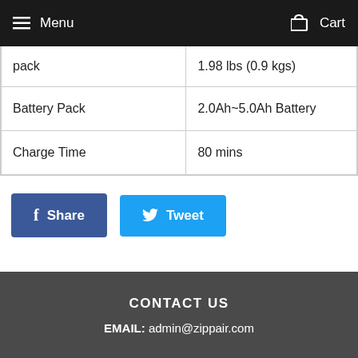Menu  Cart
| pack | 1.98 lbs (0.9 kgs) |
| Battery Pack | 2.0Ah~5.0Ah Battery |
| Charge Time | 80 mins |
Share  Tweet
CONTACT US
EMAIL: admin@zippair.com